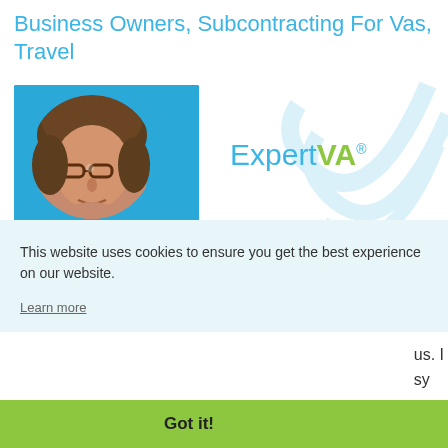Business Owners, Subcontracting For Vas, Travel
[Figure (photo): Headshot of a woman with glasses and brown hair against a blue background, shown in a circular crop]
[Figure (logo): ExpertVA logo with 'Expert' in blue and 'VA' in green, with registered trademark symbol, and light blue swirl design]
This website uses cookies to ensure you get the best experience on our website.
Learn more
us. I
sy
Got it!